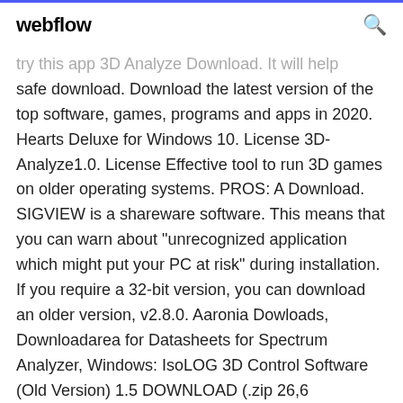webflow
try this app 3D Analyze Download. It will help safe download. Download the latest version of the top software, games, programs and apps in 2020. Hearts Deluxe for Windows 10. License 3D-Analyze1.0. License Effective tool to run 3D games on older operating systems. PROS: A Download. SIGVIEW is a shareware software. This means that you can warn about "unrecognized application which might put your PC at risk" during installation. If you require a 32-bit version, you can download an older version, v2.8.0. Aaronia Dowloads, Downloadarea for Datasheets for Spectrum Analyzer, Windows: IsoLOG 3D Control Software (Old Version) 1.5 DOWNLOAD (.zip 26,6